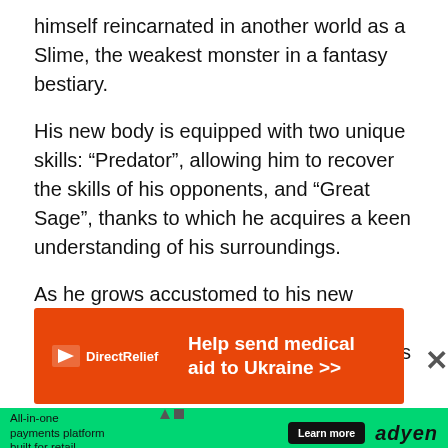himself reincarnated in another world as a Slime, the weakest monster in a fantasy bestiary.
His new body is equipped with two unique skills: “Predator”, allowing him to recover the skills of his opponents, and “Great Sage”, thanks to which he acquires a keen understanding of his surroundings.
As he grows accustomed to his new physique, his gooey antics ripple throughout the world, gradually altering his fate.
[Figure (infographic): Direct Relief advertisement banner: orange background with Direct Relief logo on left, bold white text 'Help send medical aid to Ukraine >>' in the center.]
[Figure (infographic): Adyen advertisement banner: green background with text 'All-in-one payments platform built for retail.', 'Learn more' button, and Adyen logo.]